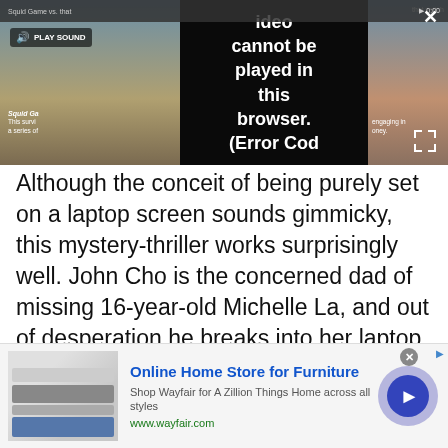[Figure (screenshot): Video player showing a partially visible thumbnail of a Squid Game scene with a black overlay reading 'Video cannot be played in this browser. (Error Cod' with a speaker/PLAY SOUND button and close X button]
Although the conceit of being purely set on a laptop screen sounds gimmicky, this mystery-thriller works surprisingly well. John Cho is the concerned dad of missing 16-year-old Michelle La, and out of desperation he breaks into her laptop to look for clues as to her whereabouts. With detective Debra Messing's help, Cho uncovers his daughter's secret online life. A tense debut from former Google employee Aneesh Chaganty, who creates a cinematic
[Figure (screenshot): Advertisement banner for Wayfair Online Home Store for Furniture with product image, title, description, URL and play button]